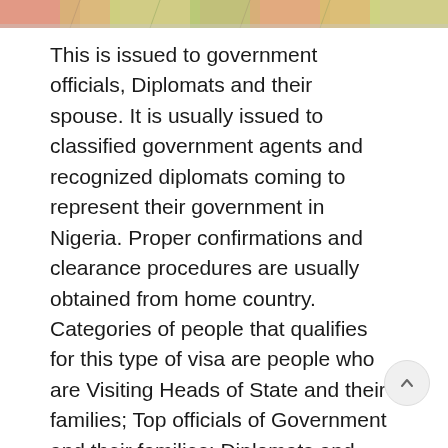[Figure (map): Partial view of a colorful map showing regions, visible at the top of the page as a cropped strip]
This is issued to government officials, Diplomats and their spouse. It is usually issued to classified government agents and recognized diplomats coming to represent their government in Nigeria. Proper confirmations and clearance procedures are usually obtained from home country. Categories of people that qualifies for this type of visa are people who are Visiting Heads of State and their families; Top officials of Government and their families; Diplomats and their families; Holders of United Nations Diplomatic Passport; Members of accredited Diplomatic Missions; Members of International organizations; Members of accredited